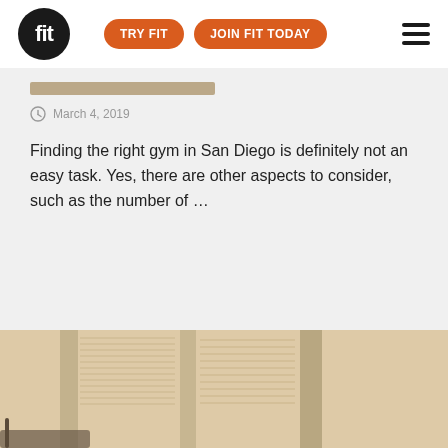fit | TRY FIT | JOIN FIT TODAY
March 4, 2019
Finding the right gym in San Diego is definitely not an easy task. Yes, there are other aspects to consider, such as the number of …
[Figure (photo): Two people (a woman with a ponytail and a man) exercising on treadmills in a gym with large windows and venetian blinds, warm/golden light.]